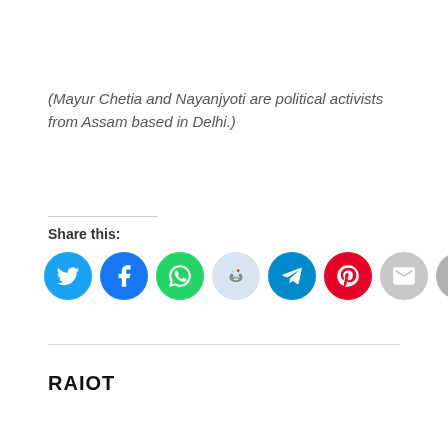(Mayur Chetia and Nayanjyoti are political activists from Assam based in Delhi.)
Share this:
[Figure (infographic): Row of social share icon circles: Twitter (blue), Facebook (blue), WhatsApp (green), Reddit (light blue), Telegram (blue), Pinterest (red), Email (grey), Print (grey)]
RAIOT